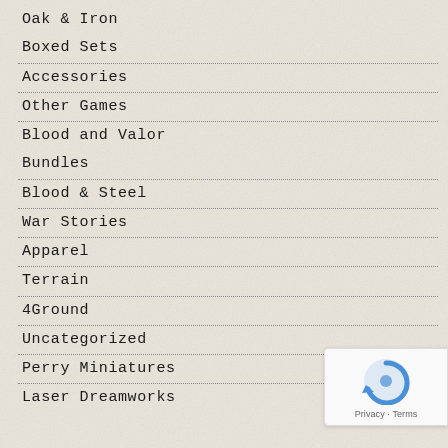Oak & Iron
Boxed Sets
Accessories
Other Games
Blood and Valor
Bundles
Blood & Steel
War Stories
Apparel
Terrain
4Ground
Uncategorized
Perry Miniatures
Laser Dreamworks